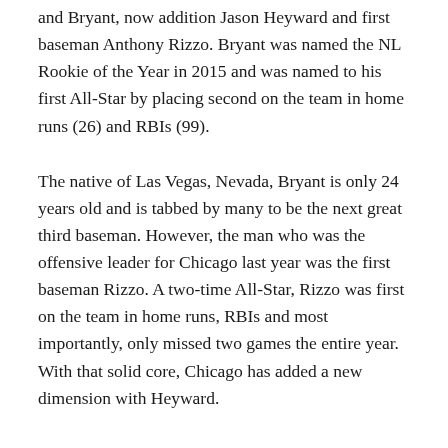and Bryant, now addition Jason Heyward and first baseman Anthony Rizzo. Bryant was named the NL Rookie of the Year in 2015 and was named to his first All-Star by placing second on the team in home runs (26) and RBIs (99).
The native of Las Vegas, Nevada, Bryant is only 24 years old and is tabbed by many to be the next great third baseman. However, the man who was the offensive leader for Chicago last year was the first baseman Rizzo. A two-time All-Star, Rizzo was first on the team in home runs, RBIs and most importantly, only missed two games the entire year. With that solid core, Chicago has added a new dimension with Heyward.